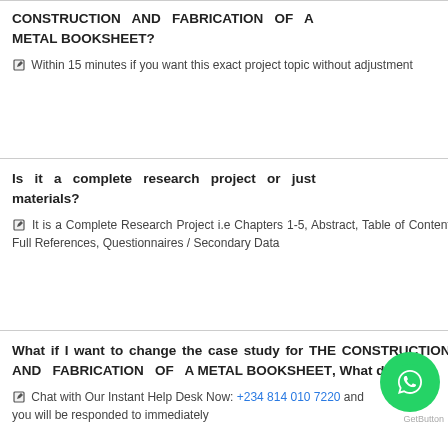CONSTRUCTION AND FABRICATION OF A METAL BOOKSHEET?
✎ Within 15 minutes if you want this exact project topic without adjustment
Is it a complete research project or just materials?
✎ It is a Complete Research Project i.e Chapters 1-5, Abstract, Table of Contents, Full References, Questionnaires / Secondary Data
What if I want to change the case study for THE CONSTRUCTION AND FABRICATION OF A METAL BOOKSHEET, What do i do?
✎ Chat with Our Instant Help Desk Now: +234 814 010 7220 and you will be responded to immediately